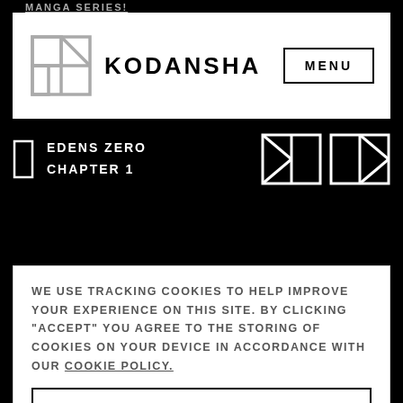MANGA SERIES!
[Figure (logo): Kodansha logo with navigation bar showing the Kodansha square grid logo icon, KODANSHA text, and MENU button]
EDENS ZERO
CHAPTER 1
[Figure (other): Two square navigation icons (previous/next chapter arrows) in white outline on black background]
WE USE TRACKING COOKIES TO HELP IMPROVE YOUR EXPERIENCE ON THIS SITE. BY CLICKING "ACCEPT" YOU AGREE TO THE STORING OF COOKIES ON YOUR DEVICE IN ACCORDANCE WITH OUR COOKIE POLICY.
ACCEPT
MANAGE COOKIES